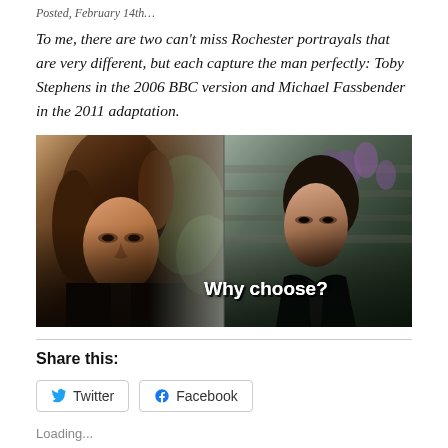…Posted, February 14th…
To me, there are two can't miss Rochester portrayals that are very different, but each capture the man perfectly: Toby Stephens in the 2006 BBC version and Michael Fassbender in the 2011 adaptation.
[Figure (photo): Side-by-side photo meme showing two actors portraying Rochester — Toby Stephens (2006 BBC) on the left and Michael Fassbender (2011 film) on the right, with the text 'Why choose?' overlaid in the center-right area.]
Share this:
Twitter  Facebook
Loading...